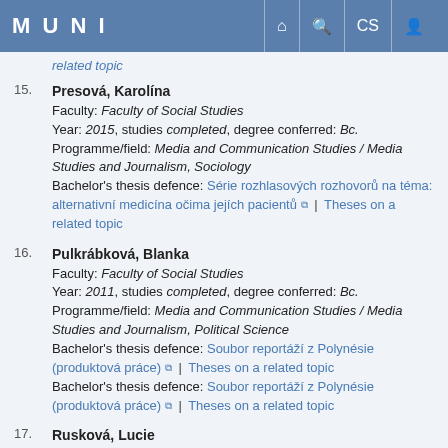MUNI
related topic
15. Presová, Karolína
Faculty: Faculty of Social Studies
Year: 2015, studies completed, degree conferred: Bc.
Programme/field: Media and Communication Studies / Media Studies and Journalism, Sociology
Bachelor's thesis defence: Série rozhlasových rozhovorů na téma: alternativní medicína očima jejích pacientů | Theses on a related topic
16. Pulkrábková, Blanka
Faculty: Faculty of Social Studies
Year: 2011, studies completed, degree conferred: Bc.
Programme/field: Media and Communication Studies / Media Studies and Journalism, Political Science
Bachelor's thesis defence: Soubor reportáží z Polynésie (produktová práce) | Theses on a related topic
Bachelor's thesis defence: Soubor reportáží z Polynésie (produktová práce) | Theses on a related topic
17. Rusková, Lucie
Faculty: Faculty of Social Studies